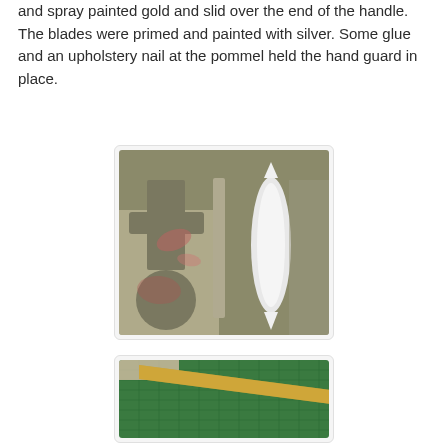and spray painted gold and slid over the end of the handle. The blades were primed and painted with silver. Some glue and an upholstery nail at the pommel held the hand guard in place.
[Figure (photo): Craft project showing sword/dagger components laid out on a khaki/olive colored foam board background. Parts include a cross-guard shape cut from board (left), a thin rectangular strip (center), and a white painted elongated double-pointed blade shape (right). Surface underneath has pink/red paint splatters.]
[Figure (photo): Partial view of a green self-healing cutting mat with a yellow/gold painted narrow strip or handle piece lying diagonally across it. Floral fabric visible in background.]